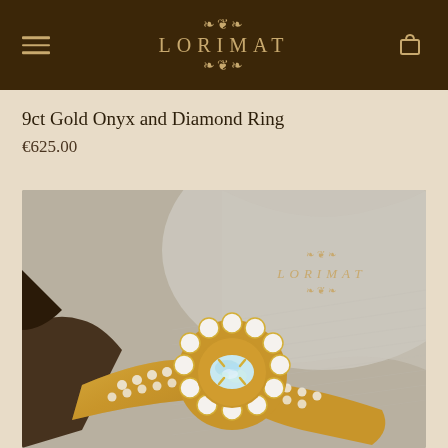LORIMAT
9ct Gold Onyx and Diamond Ring
€625.00
[Figure (photo): Close-up photograph of a 9ct gold ring featuring an oval opal/onyx centre stone surrounded by a diamond halo, set on a diamond-pavé band, displayed on grey fabric with LORIMAT watermark logo in the upper right corner of the image.]